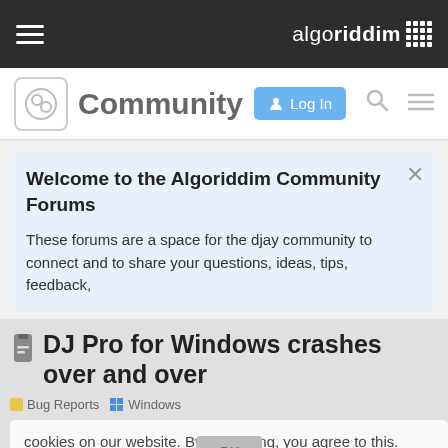algoriddim
Community  Log In
Welcome to the Algoriddim Community Forums
These forums are a space for the djay community to connect and to share your questions, ideas, tips, feedback,
DJ Pro for Windows crashes over and over
Bug Reports  Windows
cookies on our website. By continuing, you agree to this.  Learn more
RoShambo  OK  Mar '21
I'm not sure where to begin, but I'm frustra
1 / 3